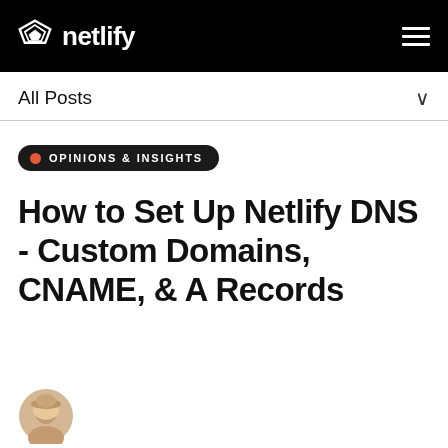netlify
All Posts
OPINIONS & INSIGHTS
How to Set Up Netlify DNS - Custom Domains, CNAME, & A Records
[Figure (photo): Author avatar photo partially visible at bottom of page]